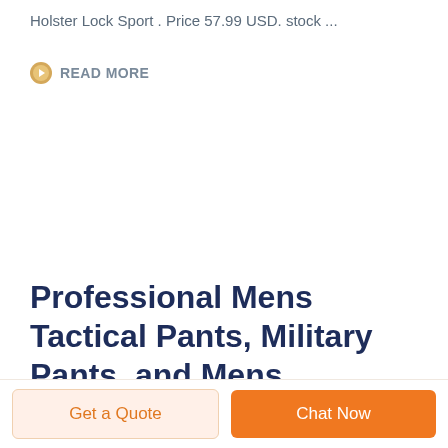Holster Lock Sport . Price 57.99 USD. stock ...
READ MORE
Professional Mens Tactical Pants, Military Pants, and Mens
Get a Quote
Chat Now